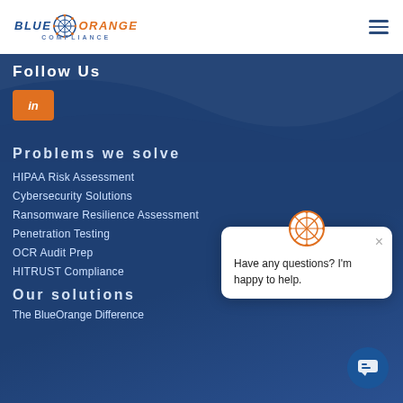[Figure (logo): Blue Orange Compliance logo with snowflake/citrus icon between BLUE and ORANGE text, COMPLIANCE subtitle]
[Figure (other): Hamburger menu icon (three horizontal lines)]
Follow Us
[Figure (other): LinkedIn orange button with 'in' icon]
Problems we solve
HIPAA Risk Assessment
Cybersecurity Solutions
Ransomware Resilience Assessment
Penetration Testing
OCR Audit Prep
HITRUST Compliance
Our solutions
The BlueOrange Difference
[Figure (other): Chat popup with orange citrus icon and text: Have any questions? I'm happy to help. With X close button and chat FAB button.]